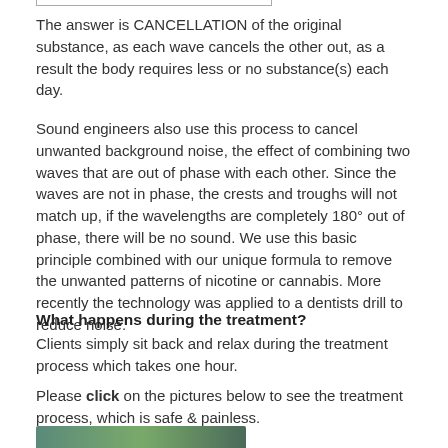[Figure (other): Bottom border of a table or image at the top of the page]
The answer is CANCELLATION of the original substance, as each wave cancels the other out, as a result the body requires less or no substance(s) each day.
Sound engineers also use this process to cancel unwanted background noise, the effect of combining two waves that are out of phase with each other. Since the waves are not in phase, the crests and troughs will not match up, if the wavelengths are completely 180° out of phase, there will be no sound. We use this basic principle combined with our unique formula to remove the unwanted patterns of nicotine or cannabis. More recently the technology was applied to a dentists drill to reduce noise.
What happens during the treatment?
Clients simply sit back and relax during the treatment process which takes one hour.
Please click on the pictures below to see the treatment process, which is safe & painless.
[Figure (photo): Partial image visible at the bottom of the page showing a treatment scene]